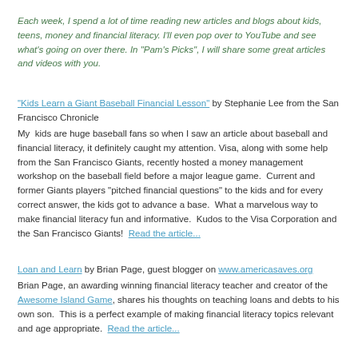Each week, I spend a lot of time reading new articles and blogs about kids, teens, money and financial literacy.  I'll even pop over to YouTube and see what's going on over there. In "Pam's Picks", I will share some great articles and videos with you.
"Kids Learn a Giant Baseball Financial Lesson" by Stephanie Lee from the San Francisco Chronicle
My  kids are huge baseball fans so when I saw an article about baseball and financial literacy, it definitely caught my attention. Visa, along with some help from the San Francisco Giants, recently hosted a money management workshop on the baseball field before a major league game.  Current and former Giants players "pitched financial questions" to the kids and for every correct answer, the kids got to advance a base.  What a marvelous way to make financial literacy fun and informative.  Kudos to the Visa Corporation and the San Francisco Giants!  Read the article...
Loan and Learn by Brian Page, guest blogger on www.americasaves.org
Brian Page, an awarding winning financial literacy teacher and creator of the Awesome Island Game, shares his thoughts on teaching loans and debts to his own son.  This is a perfect example of making financial literacy topics relevant and age appropriate.  Read the article...